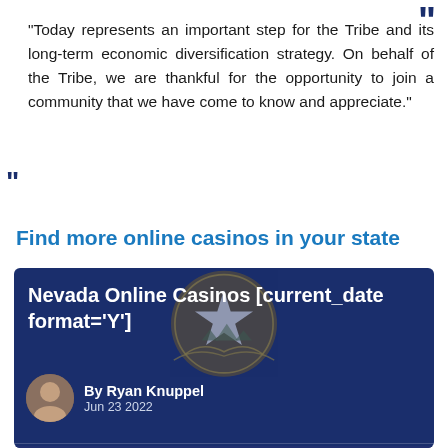“Today represents an important step for the Tribe and its long-term economic diversification strategy. On behalf of the Tribe, we are thankful for the opportunity to join a community that we have come to know and appreciate.”
Find more online casinos in your state
[Figure (screenshot): Dark blue card showing 'Nevada Online Casinos [current_date format=\'Y\']' with Nevada state seal watermark, author Ryan Knuppel, date Jun 23 2022, and links to Oregon Online Casinos 2022, Fastest Online Casino Payouts 2022, New York Online Casinos 2022. Cookie consent overlay is partially visible.]